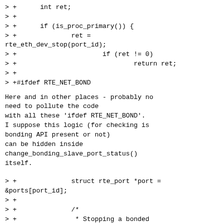> +      int ret;
> +
> +      if (is_proc_primary()) {
> +              ret =
rte_eth_dev_stop(port_id);
> +                      if (ret != 0)
> +                              return ret;
> +
> +#ifdef RTE_NET_BOND
Here and in other places - probably no
need to pollute the code
with all these 'ifdef RTE_NET_BOND'.
I suppose this logic (for checking is
bonding API present or not)
can be hidden inside
change_bonding_slave_port_status()
itself.
> +              struct rte_port *port =
&ports[port_id];
> +
> +              /*
> +               * Stopping a bonded
port also stops all slaves under the
bonded
> +               * device. So if this
port is bond device, we need to modify
the